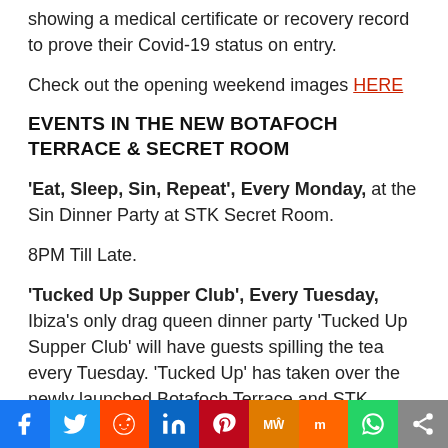showing a medical certificate or recovery record to prove their Covid-19 status on entry.
Check out the opening weekend images HERE
EVENTS IN THE NEW BOTAFOCH TERRACE & SECRET ROOM
'Eat, Sleep, Sin, Repeat', Every Monday, at the Sin Dinner Party at STK Secret Room.
8PM Till Late.
'Tucked Up Supper Club', Every Tuesday, Ibiza's only drag queen dinner party 'Tucked Up Supper Club' will have guests spilling the tea every Tuesday. 'Tucked Up' has taken over the newly launched Botafoch Terrace and STK Secret Room with 2 sittings throughout the evening (8pm-11pm and 11pm – 2am). For anyone in Ibiza looking for an evening full
Social share bar: Facebook, Twitter, Reddit, LinkedIn, Pinterest, MeWe, Mix, WhatsApp, Share